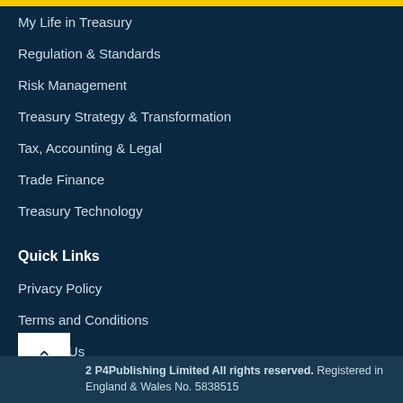My Life in Treasury
Regulation & Standards
Risk Management
Treasury Strategy & Transformation
Tax, Accounting & Legal
Trade Finance
Treasury Technology
Quick Links
Privacy Policy
Terms and Conditions
Contact Us
2 P4Publishing Limited All rights reserved. Registered in England & Wales No. 5838515